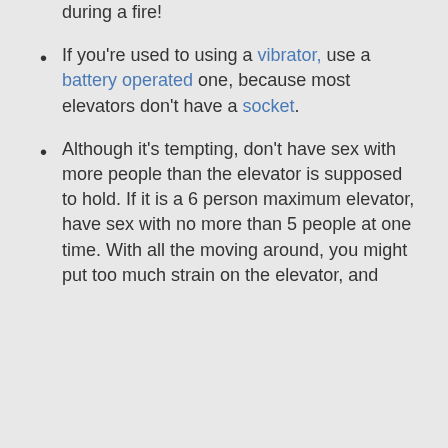If you're used to using a vibrator, use a battery operated one, because most elevators don't have a socket.
Although it's tempting, don't have sex with more people than the elevator is supposed to hold. If it is a 6 person maximum elevator, have sex with no more than 5 people at one time. With all the moving around, you might put too much strain on the elevator, and